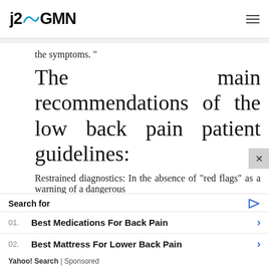j2GMN
the symptoms. "
The main recommendations of the low back pain patient guidelines:
Restrained diagnostics: In the absence of "red flags" as a warning of a dangerous
Search for
01. Best Medications For Back Pain
02. Best Mattress For Lower Back Pain
Yahoo! Search | Sponsored